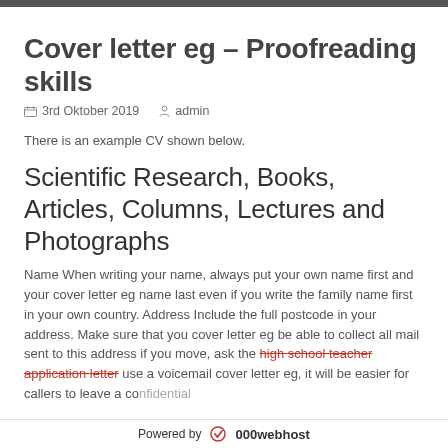Cover letter eg – Proofreading skills
3rd Oktober 2019   admin
There is an example CV shown below.
Scientific Research, Books, Articles, Columns, Lectures and Photographs
Name When writing your name, always put your own name first and your cover letter eg name last even if you write the family name first in your own country. Address Include the full postcode in your address. Make sure that you cover letter eg be able to collect all mail sent to this address if you move, ask the high school teacher application letter use a voicemail cover letter eg, it will be easier for callers to leave a confidential